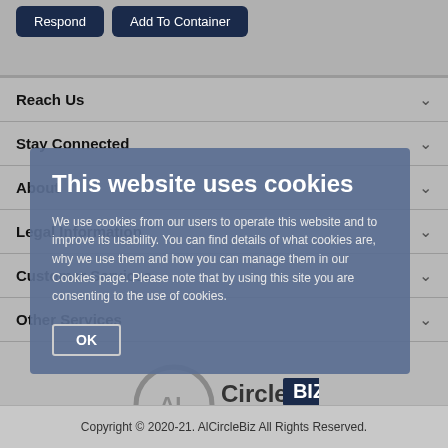Respond | Add To Container
Reach Us
Stay Connected
About
Legal Information
Customer Services
Other Services
[Figure (screenshot): Cookie consent modal overlay. Title: 'This website uses cookies'. Body text: 'We use cookies from our users to operate this website and to improve its usability. You can find details of what cookies are, why we use them and how you can manage them in our Cookies page. Please note that by using this site you are consenting to the use of cookies.' OK button.]
[Figure (logo): AlCircleBiz logo with circular AL mark and text 'CircleBIZ' and 'www.alcirclebiz.com']
Copyright © 2020-21. AlCircleBiz All Rights Reserved.